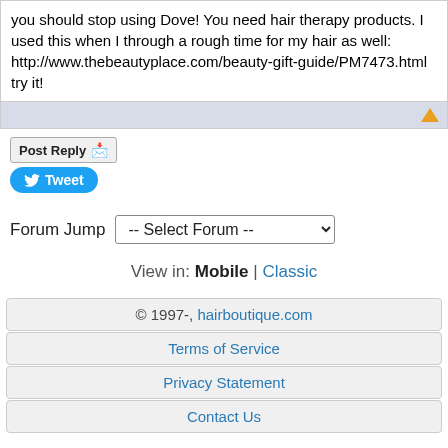you should stop using Dove! You need hair therapy products. I used this when I through a rough time for my hair as well: http://www.thebeautyplace.com/beauty-gift-guide/PM7473.html try it!
Post Reply | Tweet
Forum Jump -- Select Forum --
View in: Mobile | Classic
© 1997-, hairboutique.com | Terms of Service | Privacy Statement | Contact Us